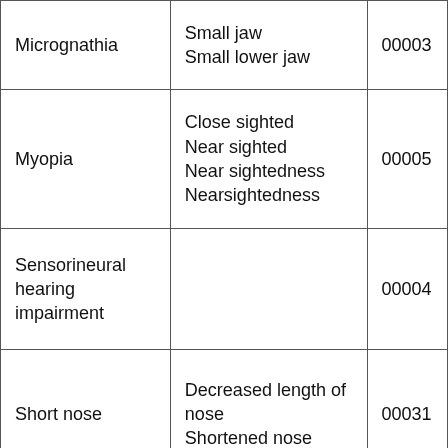| Micrognathia | Small jaw
Small lower jaw | 00003 |
| Myopia | Close sighted
Near sighted
Near sightedness
Nearsightedness | 00005 |
| Sensorineural hearing impairment |  | 00004 |
| Short nose | Decreased length of nose
Shortened nose | 00031 |
| Short stature | Decreased body height | 00043 |